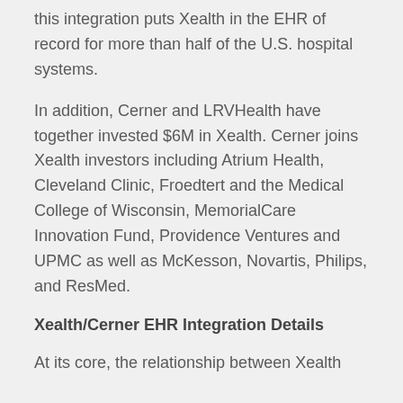this integration puts Xealth in the EHR of record for more than half of the U.S. hospital systems.
In addition, Cerner and LRVHealth have together invested $6M in Xealth. Cerner joins Xealth investors including Atrium Health, Cleveland Clinic, Froedtert and the Medical College of Wisconsin, MemorialCare Innovation Fund, Providence Ventures and UPMC as well as McKesson, Novartis, Philips, and ResMed.
Xealth/Cerner EHR Integration Details
At its core, the relationship between Xealth